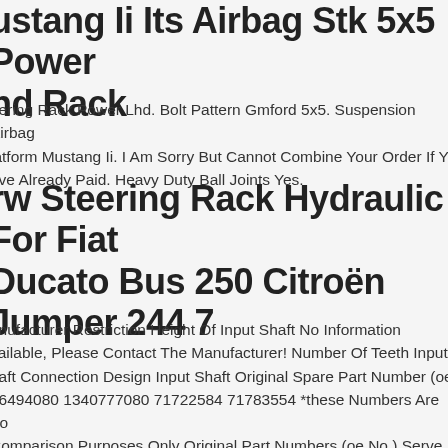Mustang Ii Its Airbag Stk 5x5 Power Lhd Rack
Steering Rack Power Lhd. Bolt Pattern Gmford 5x5. Suspension Airbag Platform Mustang Ii. I Am Sorry But Cannot Combine Your Order If You Have Already Paid. Heavy Duty Ball Joints Yes.
Trw Steering Rack Hydraulic For Fiat Ducato Bus 250 Citroën Jumper 244 7
Manufacturer Restriction Height Of Input Shaft No Information Available, Please Contact The Manufacturer! Number Of Teeth Input Shaft Connection Design Input Shaft Original Spare Part Number (oe) 36494080 1340777080 71722584 71783554 *these Numbers Are For Comparison Purposes Only Original Part Numbers (oe No.) Serve As Reference Numbers For Comparison Purposes And May Deviate All Logos, Brand Names And Trademarks Used Are The Property Of Their All Products Are Quality Checked Hardly Everything In Stock